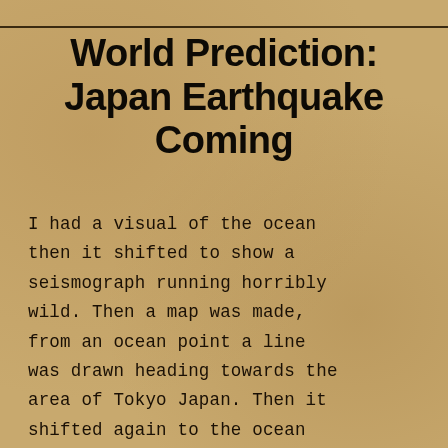World Prediction: Japan Earthquake Coming
I had a visual of the ocean then it shifted to show a seismograph running horribly wild. Then a map was made, from an ocean point a line was drawn heading towards the area of Tokyo Japan. Then it shifted again to the ocean and it’s waves moving back and forth…